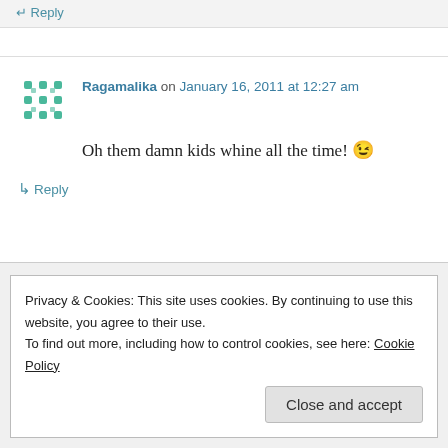↵ Reply
Ragamalika on January 16, 2011 at 12:27 am
Oh them damn kids whine all the time! 😉
↳ Reply
Privacy & Cookies: This site uses cookies. By continuing to use this website, you agree to their use. To find out more, including how to control cookies, see here: Cookie Policy
Close and accept